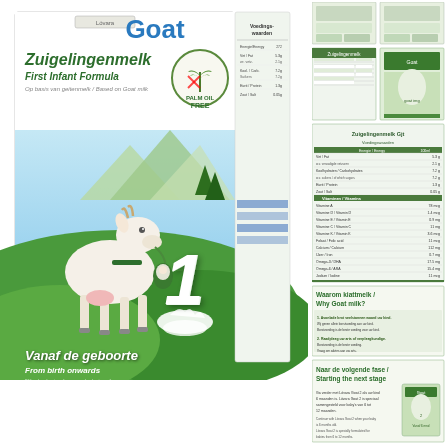[Figure (photo): Product packaging for Lówara Goat First Infant Formula (Zuigelingenmelk / First Infant Formula), a goat milk-based infant formula. The box features a cartoon goat illustration on a green meadow background with mountains. Text reads 'Vanaf de geboorte / From birth onwards'. A large number '1' is displayed. The box has a Palm Oil Free badge. The right side shows nutritional information panels.]
[Figure (photo): Sidebar thumbnail images showing various panels of the product packaging including nutritional information tables, instructions, and additional product information panels with green and white color scheme.]